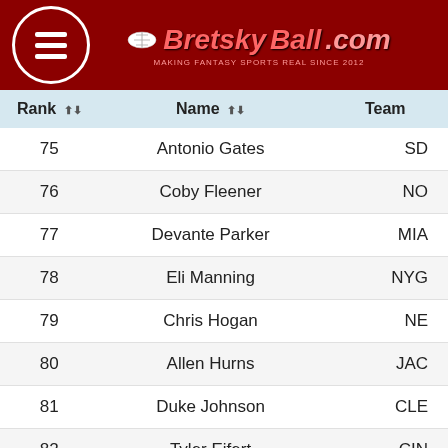BretskyBall.com - Making Fantasy Sports Real Since 2012
| Rank | Name | Team |
| --- | --- | --- |
| 75 | Antonio Gates | SD |
| 76 | Coby Fleener | NO |
| 77 | Devante Parker | MIA |
| 78 | Eli Manning | NYG |
| 79 | Chris Hogan | NE |
| 80 | Allen Hurns | JAC |
| 81 | Duke Johnson | CLE |
| 82 | Tyler Eifert | CIN |
| 83 | Ameer Abdullah | DET |
| 84 | Isaiah Crowell | CLE |
| 85 | DeSean Jackson | WAS |